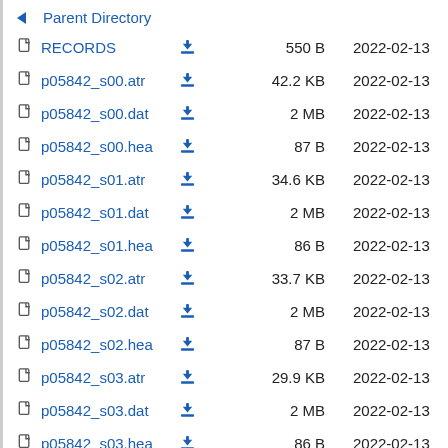Parent Directory
RECORDS  550 B  2022-02-13
p05842_s00.atr  42.2 KB  2022-02-13
p05842_s00.dat  2 MB  2022-02-13
p05842_s00.hea  87 B  2022-02-13
p05842_s01.atr  34.6 KB  2022-02-13
p05842_s01.dat  2 MB  2022-02-13
p05842_s01.hea  86 B  2022-02-13
p05842_s02.atr  33.7 KB  2022-02-13
p05842_s02.dat  2 MB  2022-02-13
p05842_s02.hea  87 B  2022-02-13
p05842_s03.atr  29.9 KB  2022-02-13
p05842_s03.dat  2 MB  2022-02-13
p05842_s03.hea  86 B  2022-02-13